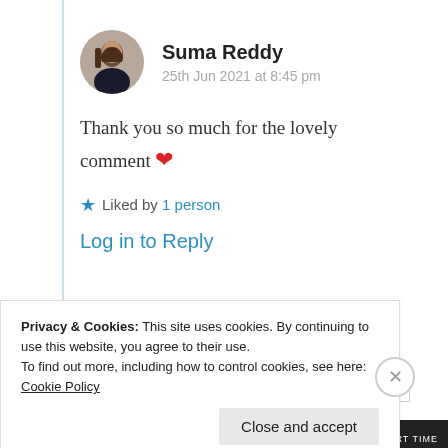[Figure (photo): Circular avatar photo of Suma Reddy, a woman in dark clothing]
Suma Reddy
25th Jun 2021 at 8:45 pm
Thank you so much for the lovely comment ❤
★ Liked by 1 person
Log in to Reply
Privacy & Cookies: This site uses cookies. By continuing to use this website, you agree to their use.
To find out more, including how to control cookies, see here: Cookie Policy
Close and accept